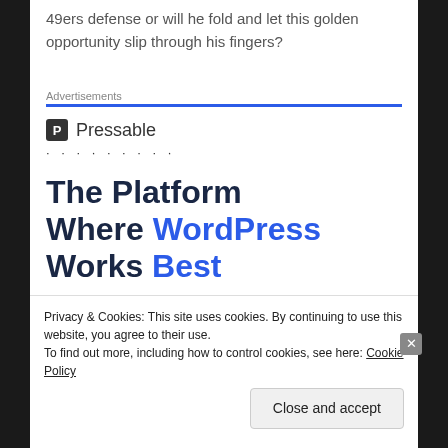49ers defense or will he fold and let this golden opportunity slip through his fingers?
[Figure (infographic): Pressable advertisement banner. Header: 'Advertisements' with blue underline. Logo: black square P icon with 'Pressable' text and dots row. Headline: 'The Platform Where WordPress Works Best' in dark navy bold, 'WordPress' and 'Best' in blue. Blue 'SEE PRICING' button.]
Privacy & Cookies: This site uses cookies. By continuing to use this website, you agree to their use.
To find out more, including how to control cookies, see here: Cookie Policy
Close and accept